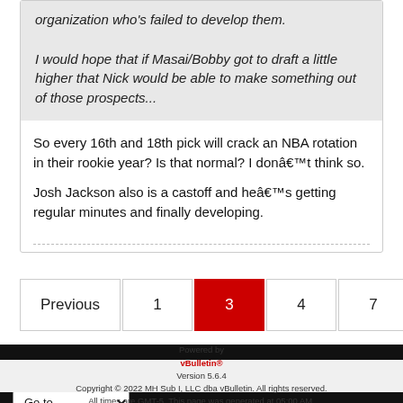organization who's failed to develop them.

I would hope that if Masai/Bobby got to draft a little higher that Nick would be able to make something out of those prospects...
So every 16th and 18th pick will crack an NBA rotation in their rookie year? Is that normal? I donâ€™t think so.

Josh Jackson also is a castoff and heâ€™s getting regular minutes and finally developing.
Previous 1 3 4 7 Next
- Default RR Style
Go to...
Powered by vBulletin® Version 5.6.4
Copyright © 2022 MH Sub I, LLC dba vBulletin. All rights reserved.
All times are GMT-5. This page was generated at 05:00 AM.